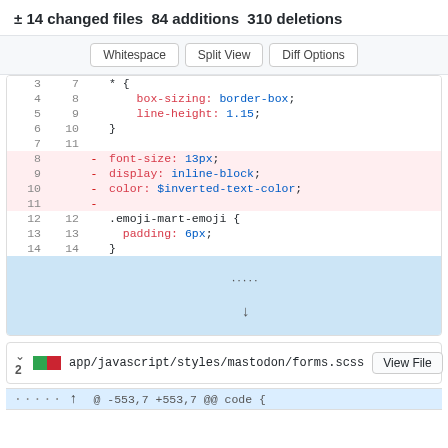± 14 changed files 84 additions 310 deletions
[Figure (screenshot): GitHub diff view with Whitespace, Split View, Diff Options buttons]
| old_line | new_line | sign | code |
| --- | --- | --- | --- |
| 3 | 7 |  | * { |
| 4 | 8 |  | box-sizing: border-box; |
| 5 | 9 |  | line-height: 1.15; |
| 6 | 10 |  | } |
| 7 | 11 |  |  |
| 8 |  | - | font-size: 13px; |
| 9 |  | - | display: inline-block; |
| 10 |  | - | color: $inverted-text-color; |
| 11 |  | - |  |
| 12 | 12 |  | .emoji-mart-emoji { |
| 13 | 13 |  | padding: 6px; |
| 14 | 14 | } |  |
[Figure (screenshot): Expand lines button in diff view]
v 2  app/javascript/styles/mastodon/forms.scss  View File
@ -553,7 +553,7 @@ code {